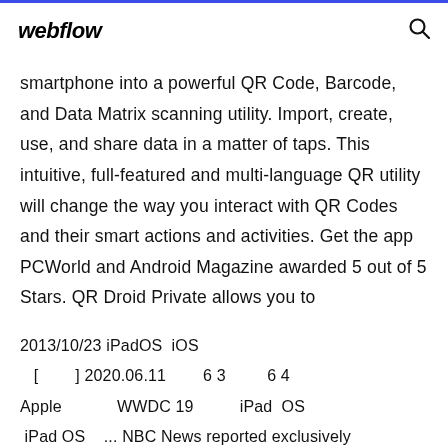webflow
smartphone into a powerful QR Code, Barcode, and Data Matrix scanning utility. Import, create, use, and share data in a matter of taps. This intuitive, full-featured and multi-language QR utility will change the way you interact with QR Codes and their smart actions and activities. Get the app PCWorld and Android Magazine awarded 5 out of 5 Stars. QR Droid Private allows you to
2013/10/23 iPadOS  iOS
[        ] 2020.06.11       6 3         6 4
Apple             WWDC 19           iPad   OS
 iPad OS    ... NBC News reported exclusively
today that the Apple App Store has taken down